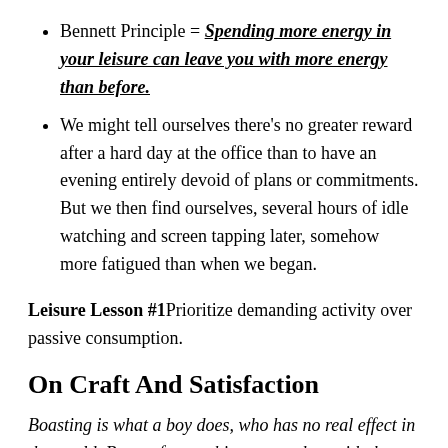Bennett Principle = Spending more energy in your leisure can leave you with more energy than before.
We might tell ourselves there's no greater reward after a hard day at the office than to have an evening entirely devoid of plans or commitments. But we then find ourselves, several hours of idle watching and screen tapping later, somehow more fatigued than when we began.
Leisure Lesson #1 Prioritize demanding activity over passive consumption.
On Craft And Satisfaction
Boasting is what a boy does, who has no real effect in the world. But craftsmanship must reckon with the infallible